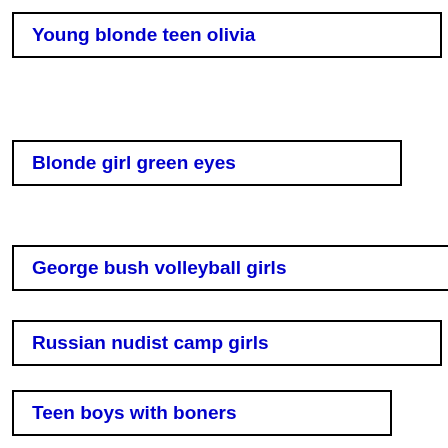Young blonde teen olivia
Blonde girl green eyes
George bush volleyball girls
Russian nudist camp girls
Teen boys with boners
Indian young teen model